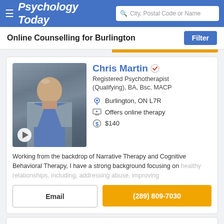Psychology Today — City, Postal Code or Name
Online Counselling for Burlington
[Figure (photo): Profile photo of Chris Martin, a bald middle-aged man wearing a grey vest and blue shirt, standing against a stone wall background. A video play button is overlaid in the bottom-left corner.]
Chris Martin
Registered Psychotherapist (Qualifying), BA, Bsc, MACP
Burlington, ON L7R
Offers online therapy
$140
Working from the backdrop of Narrative Therapy and Cognitive Behavioral Therapy, I have a strong background focusing on healthy relationships, including, addressing abuse, improving
Email
(289) 809-7030